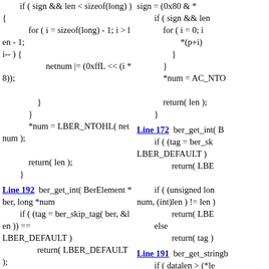if ( sign && len < sizeof(long) ) {
    for ( i = sizeof(long) - 1; i > len - 1;
i-- ) {
            netnum |= (0xffL << (i * 8));
        }
    }
    *num = LBER_NTOHL( netnum );

    return( len );
}
Line 192  ber_get_int( BerElement *ber, long *num
    if ( (tag = ber_skip_tag( ber, &len )) ==
LBER_DEFAULT )
        return( LBER_DEFAULT );

    if ( ber_getnint( ber, num, (int)len ) !=
len )
        return( LBER_DEFAULT );
    else
        return( tag );
Line 211  ber_get_stringb( BerElement *ber, char *
    if ( datalen > (*len - 1) )
        return( LBER_DEFAULT );
sign = (0x80 & *
if ( sign && len
    for ( i = 0; i
        *(p+i)
    }
}
*num = AC_NTO

return( len );
}
Line 172  ber_get_int( B
    if ( (tag = ber_sk
LBER_DEFAULT )
        return( LBE

    if ( (unsigned lon
num, (int)len ) != len )
        return( LBE
    else
        return( tag )
Line 191  ber_get_stringb
    if ( datalen > (*le
        return( LBE